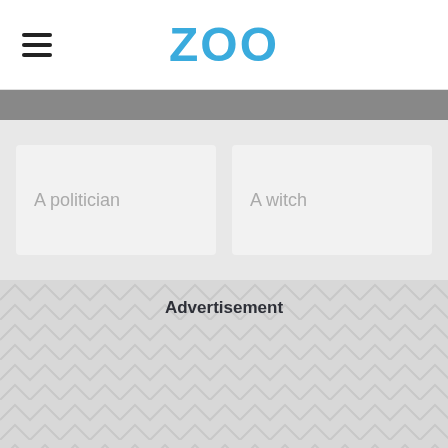ZOO
A politician
A witch
Advertisement